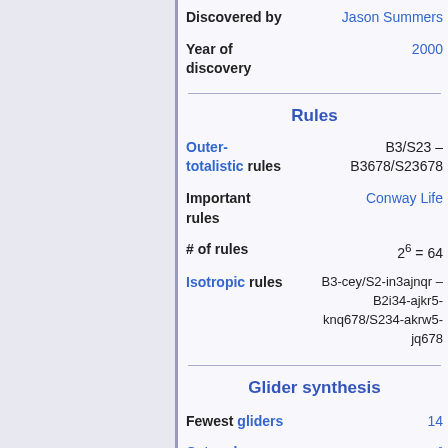| Field | Value |
| --- | --- |
| Discovered by | Jason Summers |
| Year of discovery | 2000 |
Rules
| Field | Value |
| --- | --- |
| Outer-totalistic rules | B3/S23 – B3678/S23678 |
| Important rules | Conway Life |
| # of rules | 2^6 = 64 |
| Isotropic rules | B3-cey/S2-in3ajnqr – B2i34-ajkr5-knq678/S234-akrw5-jq678 |
Glider synthesis
| Field | Value |
| --- | --- |
| Fewest gliders | 14 |
| Catagolue-generated RLE | crab_synth.rle |
| Uploaded synthesis RLE | crab_synth.rle |